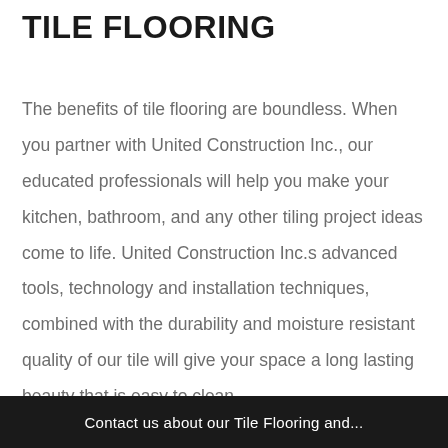TILE FLOORING
The benefits of tile flooring are boundless. When you partner with United Construction Inc., our educated professionals will help you make your kitchen, bathroom, and any other tiling project ideas come to life. United Construction Inc.s advanced tools, technology and installation techniques, combined with the durability and moisture resistant quality of our tile will give your space a long lasting beauty that is easy to clean.
Contact us about our Tile Flooring and...